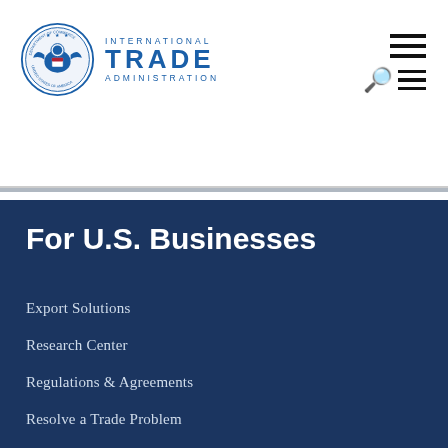[Figure (logo): Department of Commerce seal and International Trade Administration logo]
[Figure (other): Search and hamburger navigation icons]
For U.S. Businesses
Export Solutions
Research Center
Regulations & Agreements
Resolve a Trade Problem
Attend an Event
News & Highlights